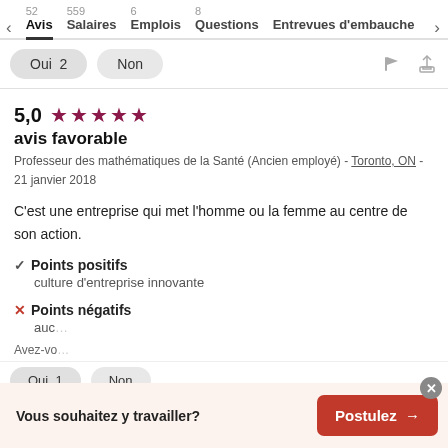52 Avis  559 Salaires  6 Emplois  8 Questions  Entrevues d'embauche
Oui 2  Non
5,0 ★★★★★
avis favorable
Professeur des mathématiques de la Santé (Ancien employé) - Toronto, ON - 21 janvier 2018
C'est une entreprise qui met l'homme ou la femme au centre de son action.
✓ Points positifs
culture d'entreprise innovante
✗ Points négatifs
auc…
Avez-vo…
Vous souhaitez y travailler?  Postulez →
Oui 1  Non